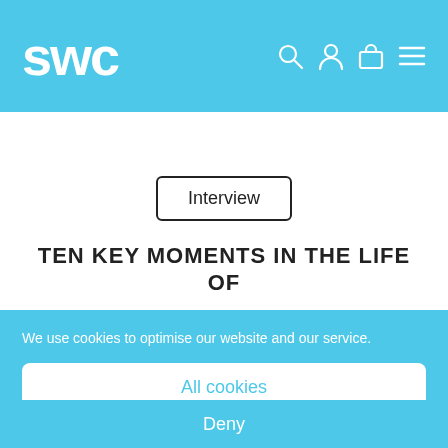SWC
[Figure (logo): SWC logo in white cursive script on blue header with search, user, cart, and hamburger menu icons]
Interview
TEN KEY MOMENTS IN THE LIFE OF
We use cookies to optimise our website and our service.
All cookies
Deny